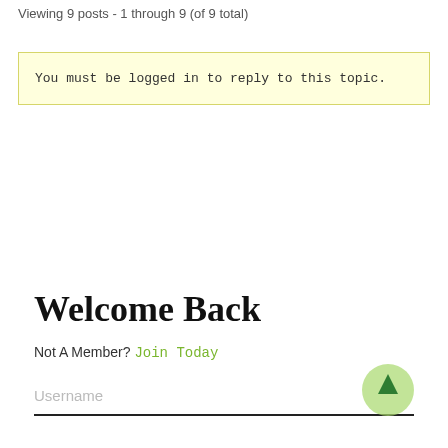Viewing 9 posts - 1 through 9 (of 9 total)
You must be logged in to reply to this topic.
Welcome Back
Not A Member? Join Today
Username